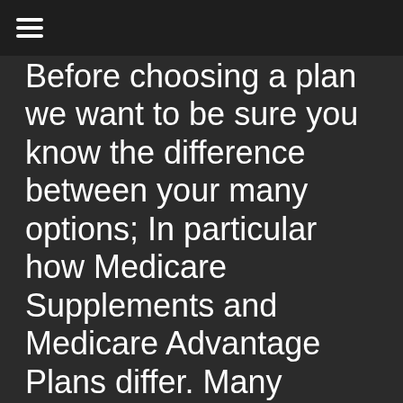≡
Before choosing a plan we want to be sure you know the difference between your many options; In particular how Medicare Supplements and Medicare Advantage Plans differ. Many people sign up for Advantage Plans thinking they are Supplements, they are not.
A Medicare Supplement is used with original Medicare. Any caregiver that accepts Medicare